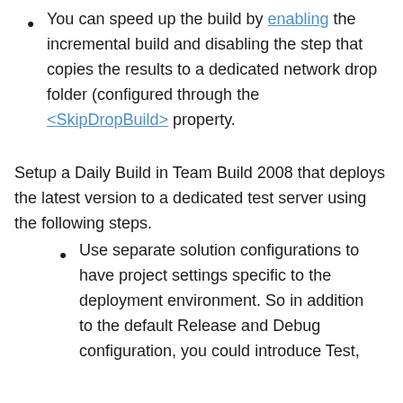You can speed up the build by enabling the incremental build and disabling the step that copies the results to a dedicated network drop folder (configured through the <SkipDropBuild> property.
Setup a Daily Build in Team Build 2008 that deploys the latest version to a dedicated test server using the following steps.
Use separate solution configurations to have project settings specific to the deployment environment. So in addition to the default Release and Debug configuration, you could introduce Test,